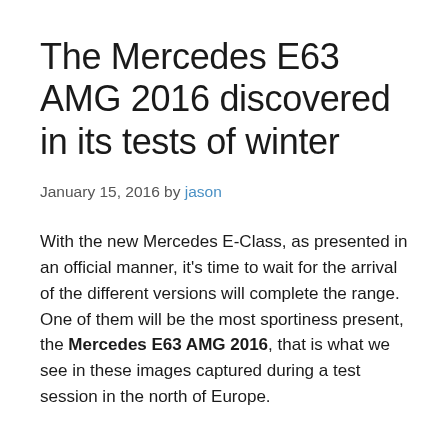The Mercedes E63 AMG 2016 discovered in its tests of winter
January 15, 2016 by jason
With the new Mercedes E-Class, as presented in an official manner, it's time to wait for the arrival of the different versions will complete the range. One of them will be the most sportiness present, the Mercedes E63 AMG 2016, that is what we see in these images captured during a test session in the north of Europe.